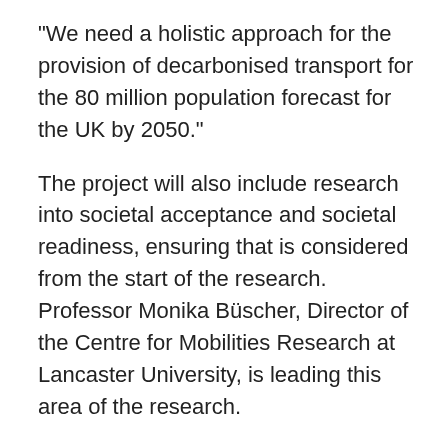“We need a holistic approach for the provision of decarbonised transport for the 80 million population forecast for the UK by 2050.”
The project will also include research into societal acceptance and societal readiness, ensuring that is considered from the start of the research. Professor Monika Büscher, Director of the Centre for Mobilities Research at Lancaster University, is leading this area of the research.
She said: “Decarbonising transport is not just a matter of building the right technologies, or even of defining the right policies. Social acceptability or the capacity of ordinary people to translate innovation into their everyday life is critical.